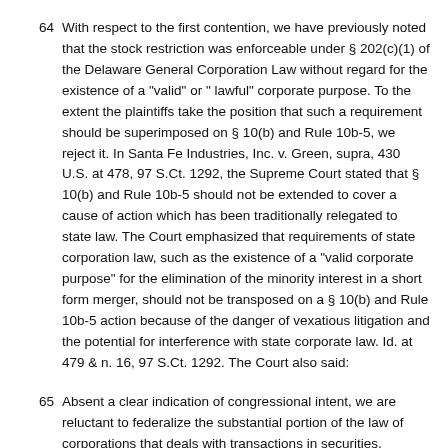64 With respect to the first contention, we have previously noted that the stock restriction was enforceable under § 202(c)(1) of the Delaware General Corporation Law without regard for the existence of a "valid" or " lawful" corporate purpose. To the extent the plaintiffs take the position that such a requirement should be superimposed on § 10(b) and Rule 10b-5, we reject it. In Santa Fe Industries, Inc. v. Green, supra, 430 U.S. at 478, 97 S.Ct. 1292, the Supreme Court stated that § 10(b) and Rule 10b-5 should not be extended to cover a cause of action which has been traditionally relegated to state law. The Court emphasized that requirements of state corporation law, such as the existence of a "valid corporate purpose" for the elimination of the minority interest in a short form merger, should not be transposed on a § 10(b) and Rule 10b-5 action because of the danger of vexatious litigation and the potential for interference with state corporate law. Id. at 479 & n. 16, 97 S.Ct. 1292. The Court also said:
65 Absent a clear indication of congressional intent, we are reluctant to federalize the substantial portion of the law of corporations that deals with transactions in securities, particularly where established state policies of corporate regulation would be overridden. As the Court stated in Cort v. Ash, (422 U.S. 66, 84, 95 S.Ct. 2080, 45 L.Ed.2d